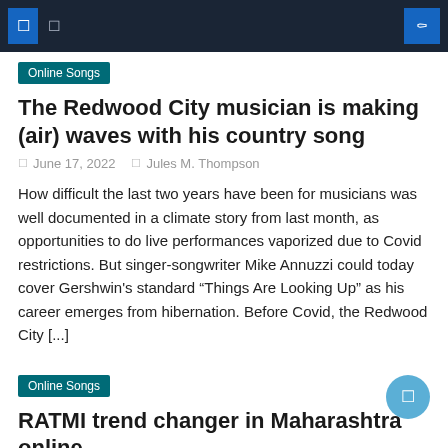Navigation bar with menu icons and search
Online Songs
The Redwood City musician is making (air) waves with his country song
June 17, 2022   Jules M. Thompson
How difficult the last two years have been for musicians was well documented in a climate story from last month, as opportunities to do live performances vaporized due to Covid restrictions. But singer-songwriter Mike Annuzzi could today cover Gershwin's standard “Things Are Looking Up” as his career emerges from hibernation. Before Covid, the Redwood City [...]
Online Songs
RATMI trend changer in Maharashtra online